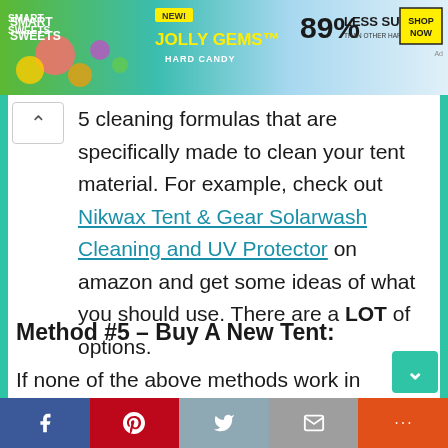[Figure (infographic): Smart Sweets Jolly Gems Hard Candy advertisement banner showing 89% Less Sugar than other hard candies, with Shop Now button]
5 cleaning formulas that are specifically made to clean your tent material. For example, check out Nikwax Tent & Gear Solarwash Cleaning and UV Protector on amazon and get some ideas of what you should use. There are a LOT of options.
Method #5 – Buy A New Tent:
If none of the above methods work in cleaning your tent and it still has the